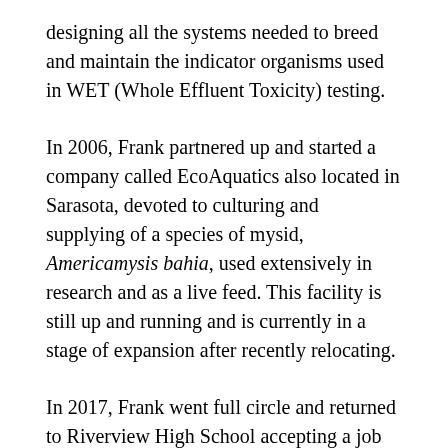designing all the systems needed to breed and maintain the indicator organisms used in WET (Whole Effluent Toxicity) testing.
In 2006, Frank partnered up and started a company called EcoAquatics also located in Sarasota, devoted to culturing and supplying of a species of mysid, Americamysis bahia, used extensively in research and as a live feed. This facility is still up and running and is currently in a stage of expansion after recently relocating.
In 2017, Frank went full circle and returned to Riverview High School accepting a job as Aquascience Facilities Manager overseeing the aquaculture program, establishing a clownfish